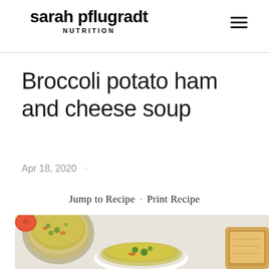sarah pflugradt NUTRITION
Broccoli potato ham and cheese soup
Apr 18, 2020  ·
Jump to Recipe · Print Recipe
[Figure (photo): Overhead photo of broccoli potato ham and cheese soup in a pot and a bowl, served with bread on a wooden board]